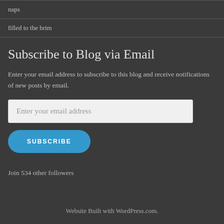naps
filled to the brim
Subscribe to Blog via Email
Enter your email address to subscribe to this blog and receive notifications of new posts by email.
Enter your email address
SUBSCRIBE
Join 534 other followers
Website Built with WordPress.com.